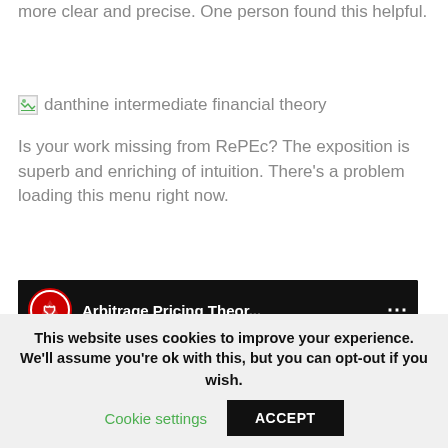more clear and precise. One person found this helpful.
[Figure (other): Broken image placeholder with label 'danthine intermediate financial theory']
Is your work missing from RePEc? The exposition is superb and enriching of intuition. There's a problem loading this menu right now.
[Figure (screenshot): YouTube video thumbnail showing 'Arbitrage Pricing Theor...' with a blackboard showing 'RAGE PRICING THEORY (APT)' with handwritten notes about Practice, identify & select k factors]
This website uses cookies to improve your experience. We'll assume you're ok with this, but you can opt-out if you wish.
Cookie settings
ACCEPT